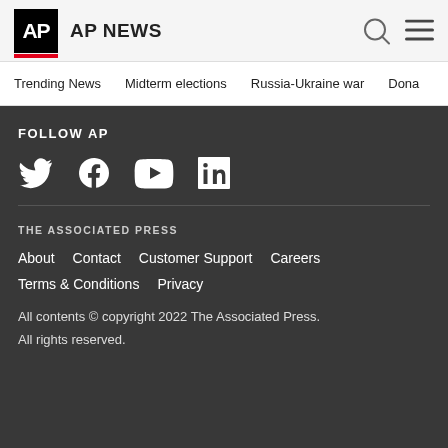AP NEWS
Trending News  Midterm elections  Russia-Ukraine war  Dona
FOLLOW AP
[Figure (illustration): Social media icons: Twitter, Facebook, YouTube, LinkedIn]
THE ASSOCIATED PRESS
About  Contact  Customer Support  Careers
Terms & Conditions  Privacy
All contents © copyright 2022 The Associated Press. All rights reserved.